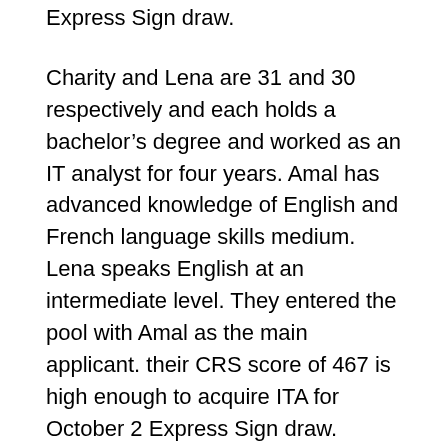Express Sign draw.
Charity and Lena are 31 and 30 respectively and each holds a bachelor's degree and worked as an IT analyst for four years. Amal has advanced knowledge of English and French language skills medium. Lena speaks English at an intermediate level. They entered the pool with Amal as the main applicant. their CRS score of 467 is high enough to acquire ITA for October 2 Express Sign draw.
“It’s always good to see IRCC increase the size of the draw and 3,900 itas impressive,” said David Cohen, a senior partner with Canadian immigration law firm Campbell Cohen in Montreal.
“Although it does not have the effect of lowering the cut-off draw CRS, can still later withdraw this quarter if IRCC maintains this magnitude periodically draw.”